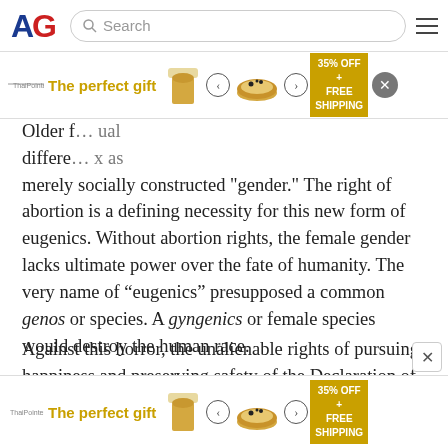AG (American Greatness) navigation bar with search
[Figure (screenshot): Advertisement banner: 'The perfect gift' with product image, navigation arrows, and '35% OFF + FREE SHIPPING' gold badge, with close button]
Older [...] differences [...] x as merely socially constructed 'gender.' The right of abortion is a defining necessity for this new form of eugenics. Without abortion rights, the female gender lacks ultimate power over the fate of humanity. The very name of “eugenics” presupposed a common genos or species. A gyngenics or female species would destroy the human race.
Against this horror, the unalienable rights of pursuing happiness and preserving safety of the Declaration of Independence remain our anchor, as it has been against earlier forms of tyranny.
[Figure (screenshot): Bottom advertisement banner: 'The perfect gift' with product image, navigation arrows, and '35% OFF + FREE SHIPPING' gold badge]